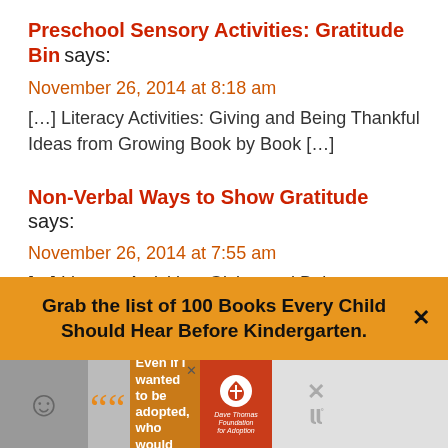Preschool Sensory Activities: Gratitude Bin says:
November 26, 2014 at 8:18 am
[…] Literacy Activities: Giving and Being Thankful Ideas from Growing Book by Book […]
Non-Verbal Ways to Show Gratitude says:
November 26, 2014 at 7:55 am
[…] Literacy Activities: Giving and Being Thankful Ideas from Growing Book by Book
Grab the list of 100 Books Every Child Should Hear Before Kindergarten.
[Figure (infographic): Advertisement banner at bottom with person photo, quote marks, ad text, Dave Thomas Foundation for Adoption logo, and close buttons]